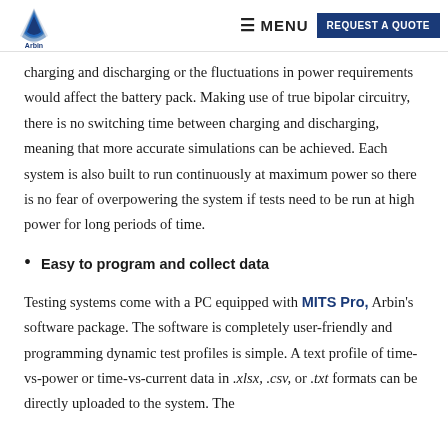MENU | REQUEST A QUOTE
charging and discharging or the fluctuations in power requirements would affect the battery pack. Making use of true bipolar circuitry, there is no switching time between charging and discharging, meaning that more accurate simulations can be achieved. Each system is also built to run continuously at maximum power so there is no fear of overpowering the system if tests need to be run at high power for long periods of time.
Easy to program and collect data
Testing systems come with a PC equipped with MITS Pro, Arbin's software package. The software is completely user-friendly and programming dynamic test profiles is simple. A text profile of time-vs-power or time-vs-current data in .xlsx, .csv, or .txt formats can be directly uploaded to the system. The